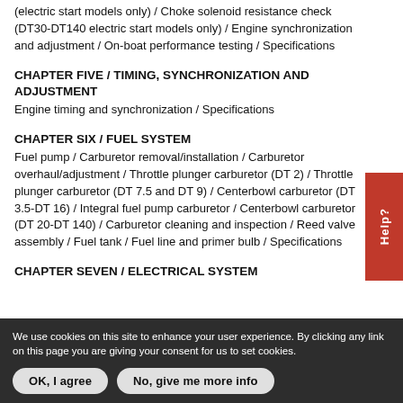(electric start models only) / Choke solenoid resistance check (DT30-DT140 electric start models only) / Engine synchronization and adjustment / On-boat performance testing / Specifications
CHAPTER FIVE / TIMING, SYNCHRONIZATION AND ADJUSTMENT
Engine timing and synchronization / Specifications
CHAPTER SIX / FUEL SYSTEM
Fuel pump / Carburetor removal/installation / Carburetor overhaul/adjustment / Throttle plunger carburetor (DT 2) / Throttle plunger carburetor (DT 7.5 and DT 9) / Centerbowl carburetor (DT 3.5-DT 16) / Integral fuel pump carburetor / Centerbowl carburetor (DT 20-DT 140) / Carburetor cleaning and inspection / Reed valve assembly / Fuel tank / Fuel line and primer bulb / Specifications
CHAPTER SEVEN / ELECTRICAL SYSTEM
We use cookies on this site to enhance your user experience. By clicking any link on this page you are giving your consent for us to set cookies.